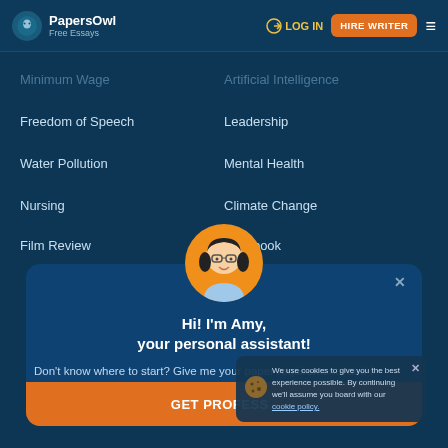PapersOwl Free Essays | LOG IN | HIRE WRITER
Minimum Wage
Artificial Intelligence
Freedom of Speech
Leadership
Water Pollution
Mental Health
Nursing
Climate Change
Film Review
Facebook
[Figure (illustration): Chat popup with Amy the personal assistant avatar (animated female illustration with glasses and pigtails on orange circle background)]
Hi! I'm Amy, your personal assistant!
Don't know where to start? Give me your paper requirements and I connect you to an academic expert.
GET PROFESS...
We use cookies to give you the best experience possible. By continuing we'll assume you board with our cookie policy.